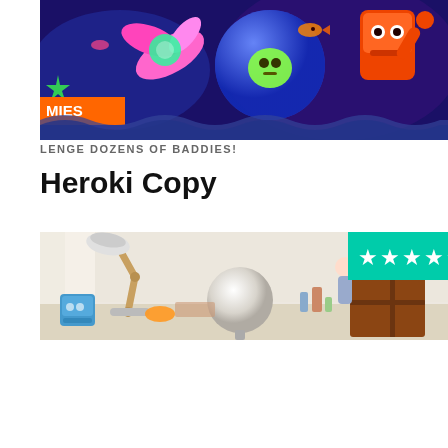[Figure (illustration): Colorful video game promotional image with cartoon characters, creatures, and an orange banner showing 'MIES' text, with blue and purple background. Bottom wavy separator. Text overlay reads 'LENGE DOZENS OF BADDIES!']
LENGE DOZENS OF BADDIES!
Heroki Copy
[Figure (photo): Photo of a desk scene with a wooden desk lamp, a round globe lamp, various small objects, and a wooden shelf unit in the background. A teal star rating badge with 5 stars is in the top-right corner.]